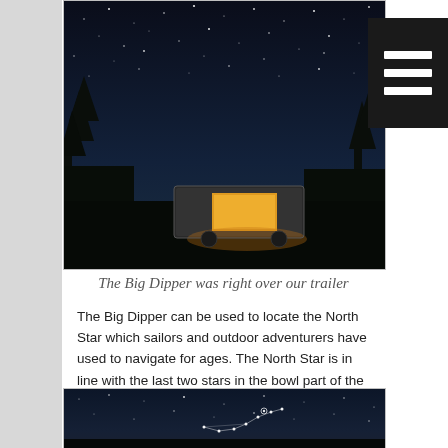[Figure (photo): Night sky photo showing a lit travel trailer/RV parked under a starry sky with silhouetted trees in the background. The trailer glows warmly with interior lights.]
The Big Dipper was right over our trailer
The Big Dipper can be used to locate the North Star which sailors and outdoor adventurers have used to navigate for ages. The North Star is in line with the last two stars in the bowl part of the Big Dipper.
[Figure (photo): Night sky photograph showing a constellation (Big Dipper) annotated with lines connecting stars against a dark blue starry sky with silhouetted landscape at the bottom.]